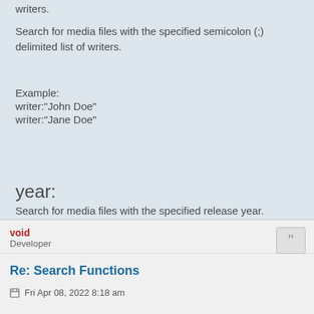writers.
Search for media files with the specified semicolon (;) delimited list of writers.
Example:
writer:"John Doe"
writer:"Jane Doe"
year:
Search for media files with the specified release year.
Example:
year:2021
year:2010..2019
void
Developer
Re: Search Functions
Fri Apr 08, 2022 8:18 am